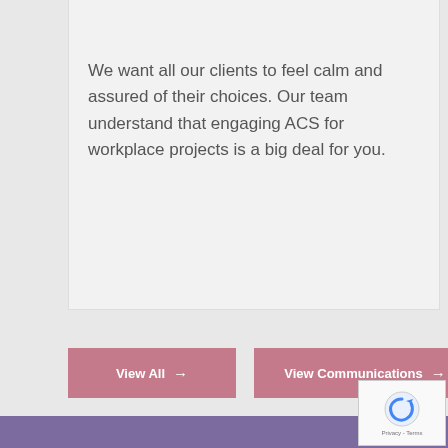We want all our clients to feel calm and assured of their choices. Our team understand that engaging ACS for workplace projects is a big deal for you.
Get In Touch →
View All →
View Communications →